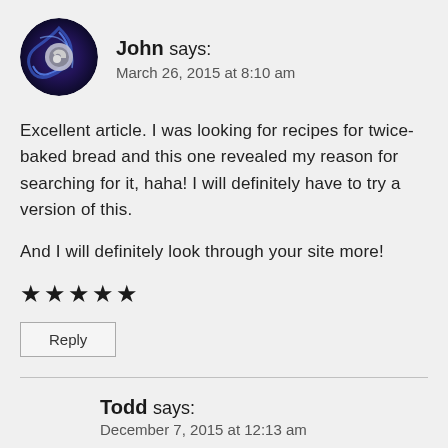[Figure (photo): Circular avatar image showing the Steam logo — a dark blue/purple swirling galaxy with the Steam icon (gear/arrow) in the center]
John says:
March 26, 2015 at 8:10 am
Excellent article. I was looking for recipes for twice-baked bread and this one revealed my reason for searching for it, haha! I will definitely have to try a version of this.
And I will definitely look through your site more!
★★★★★
Reply
Todd says:
December 7, 2015 at 12:13 am